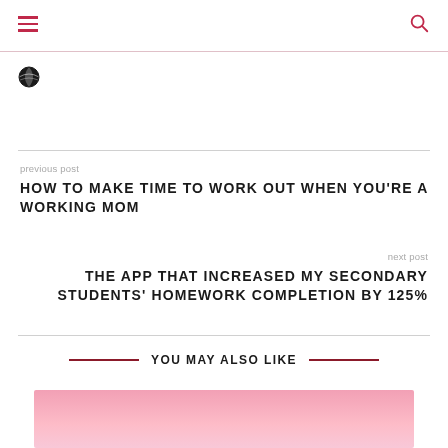[hamburger menu icon] [search icon]
[Figure (logo): Globe/world icon, small, black, top left below header]
previous post
HOW TO MAKE TIME TO WORK OUT WHEN YOU'RE A WORKING MOM
next post
THE APP THAT INCREASED MY SECONDARY STUDENTS' HOMEWORK COMPLETION BY 125%
YOU MAY ALSO LIKE
[Figure (photo): Pink background photo, partially visible at bottom of page, appears to show some items/objects]